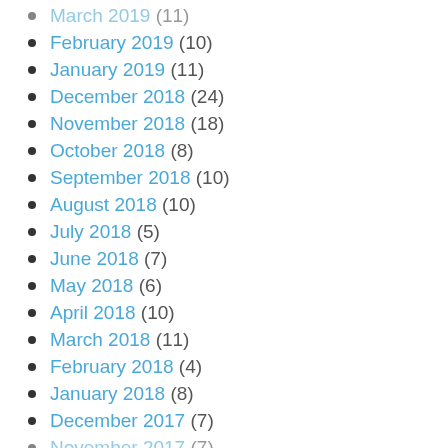March 2019 (11)
February 2019 (10)
January 2019 (11)
December 2018 (24)
November 2018 (18)
October 2018 (8)
September 2018 (10)
August 2018 (10)
July 2018 (5)
June 2018 (7)
May 2018 (6)
April 2018 (10)
March 2018 (11)
February 2018 (4)
January 2018 (8)
December 2017 (7)
November 2017 (7)